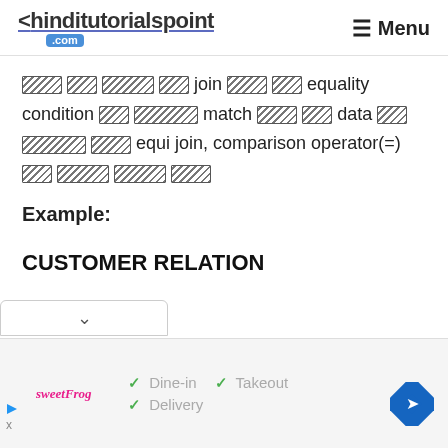<hinditutorialspoint .com   Menu
वहां पर वहाँ पर join वहाँ पर equality condition पर उपयोग match वहाँ पर data पर उपयोग वहाँ equi join, comparison operator(=) पर उपयोग वहाँ वहाँ
Example:
CUSTOMER RELATION